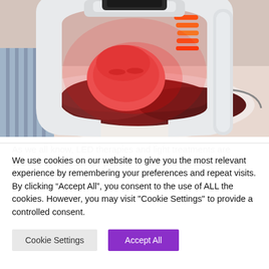[Figure (photo): A woman lying down with a white LED light therapy device arched over her face, emitting red/orange light. The device is large and dome-shaped with visible LED strips.]
As we all know, LED therapies and light treatments are becoming increasingly popular for various medical reasons. The majority of
We use cookies on our website to give you the most relevant experience by remembering your preferences and repeat visits. By clicking “Accept All”, you consent to the use of ALL the cookies. However, you may visit "Cookie Settings" to provide a controlled consent.